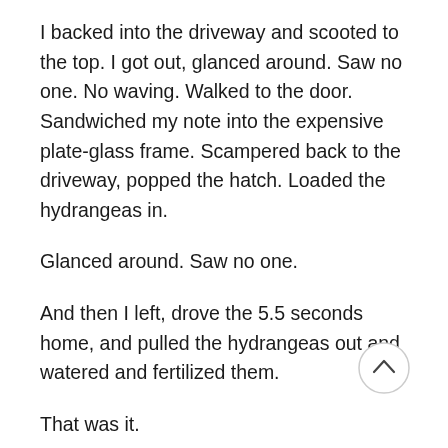I backed into the driveway and scooted to the top. I got out, glanced around. Saw no one. No waving. Walked to the door. Sandwiched my note into the expensive plate-glass frame. Scampered back to the driveway, popped the hatch. Loaded the hydrangeas in.
Glanced around. Saw no one.
And then I left, drove the 5.5 seconds home, and pulled the hydrangeas out and watered and fertilized them.
That was it.
And that’s the curious incident of the hydrangeas in the nighttime…